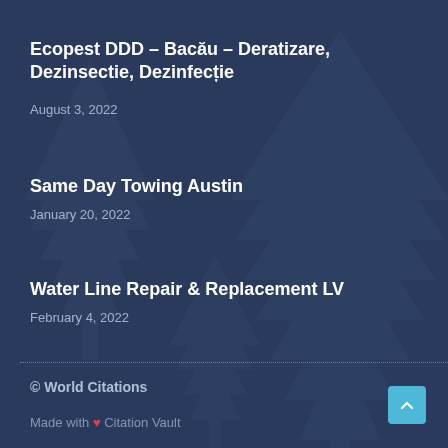[Figure (illustration): Dark navy blue background with pine/fir tree silhouettes in a slightly lighter shade, creating a textured forest pattern]
Ecopest DDD – Bacău – Deratizare, Dezinsectie, Dezinfecție
August 3, 2022
Same Day Towing Austin
January 20, 2022
Water Line Repair & Replacement LV
February 4, 2022
© World Citations
Made with ❤ Citation Vault